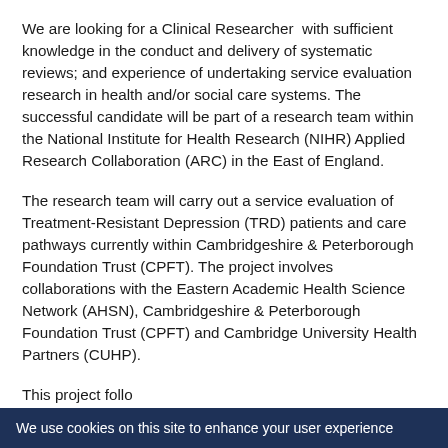We are looking for a Clinical Researcher  with sufficient knowledge in the conduct and delivery of systematic reviews; and experience of undertaking service evaluation research in health and/or social care systems. The successful candidate will be part of a research team within the National Institute for Health Research (NIHR) Applied Research Collaboration (ARC) in the East of England.
The research team will carry out a service evaluation of Treatment-Resistant Depression (TRD) patients and care pathways currently within Cambridgeshire & Peterborough Foundation Trust (CPFT). The project involves collaborations with the Eastern Academic Health Science Network (AHSN), Cambridgeshire & Peterborough Foundation Trust (CPFT) and Cambridge University Health Partners (CUHP).
This project follo...
We use cookies on this site to enhance your user experience